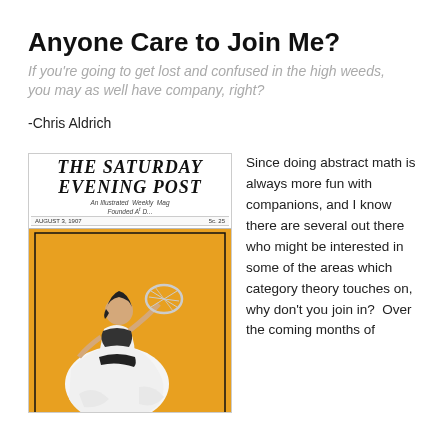Anyone Care to Join Me?
If you're going to get lost and confused in the high weeds, you may as well have company, right?
-Chris Aldrich
[Figure (photo): Cover of The Saturday Evening Post, An Illustrated Weekly Magazine, August 3, 1907, showing a woman in a white dress playing tennis on an orange background.]
Since doing abstract math is always more fun with companions, and I know there are several out there who might be interested in some of the areas which category theory touches on, why don't you join in?  Over the coming months of